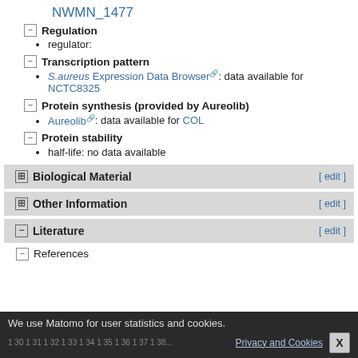NWMN_1477
Regulation
regulator:
Transcription pattern
S.aureus Expression Data Browser: data available for NCTC8325
Protein synthesis (provided by Aureolib)
Aureolib: data available for COL
Protein stability
half-life: no data available
Biological Material [ edit ]
Other Information [ edit ]
Literature [ edit ]
References
We use Matomo for user statistics and cookies. Privacy and Cookies X